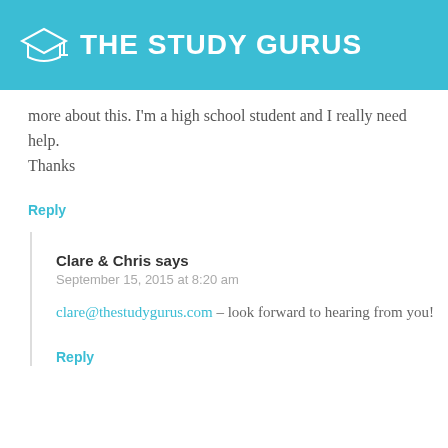THE STUDY GURUS
more about this. I'm a high school student and I really need help.
Thanks
Reply
Clare & Chris says
September 15, 2015 at 8:20 am
clare@thestudygurus.com – look forward to hearing from you!
Reply